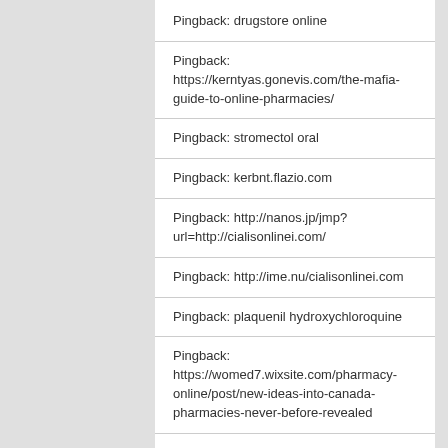Pingback: drugstore online
Pingback: https://kerntyas.gonevis.com/the-mafia-guide-to-online-pharmacies/
Pingback: stromectol oral
Pingback: kerbnt.flazio.com
Pingback: http://nanos.jp/jmp?url=http://cialisonlinei.com/
Pingback: http://ime.nu/cialisonlinei.com
Pingback: plaquenil hydroxychloroquine
Pingback: https://womed7.wixsite.com/pharmacy-online/post/new-ideas-into-canada-pharmacies-never-before-revealed